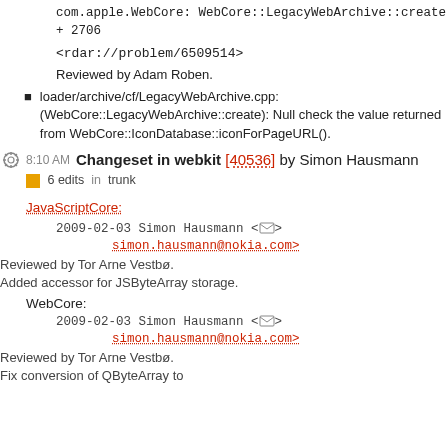com.apple.WebCore: WebCore::LegacyWebArchive::create
+ 2706
<rdar://problem/6509514>
Reviewed by Adam Roben.
loader/archive/cf/LegacyWebArchive.cpp: (WebCore::LegacyWebArchive::create): Null check the value returned from WebCore::IconDatabase::iconForPageURL().
8:10 AM Changeset in webkit [40536] by Simon Hausmann
6 edits in trunk
JavaScriptCore:
2009-02-03 Simon Hausmann <simon.hausmann@nokia.com>
Reviewed by Tor Arne Vestbø.
Added accessor for JSByteArray storage.
WebCore:
2009-02-03 Simon Hausmann <simon.hausmann@nokia.com>
Reviewed by Tor Arne Vestbø.
Fix conversion of QByteArray to...